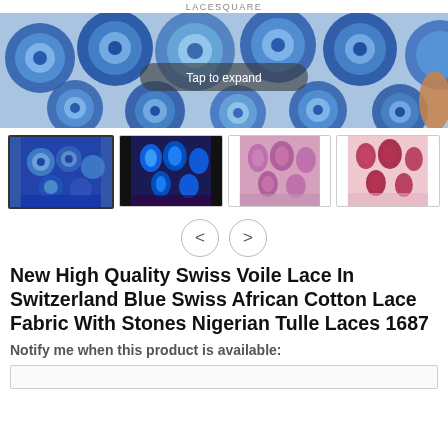LACESQUARE
[Figure (photo): Main product image showing blue African lace fabric with large swirl/snail patterns in blue and light blue tones, with a hand visible on the right side. A 'Tap to expand' overlay button is shown in the center.]
[Figure (photo): Four thumbnail images showing the same lace fabric in different colorways: blue (selected/highlighted), dark blue with bright blue circles, purple/mauve, and pink/maroon.]
[Figure (other): Navigation arrows: left chevron and right chevron inside circular buttons for browsing product images.]
New High Quality Swiss Voile Lace In Switzerland Blue Swiss African Cotton Lace Fabric With Stones Nigerian Tulle Laces 1687
Notify me when this product is available: